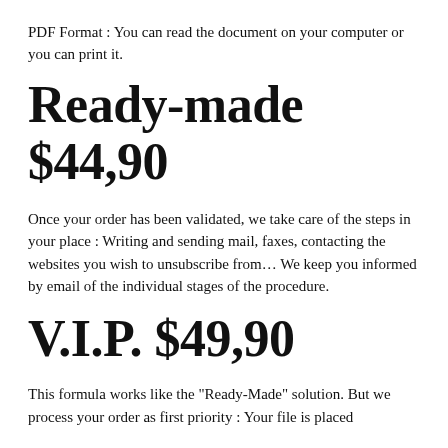PDF Format : You can read the document on your computer or you can print it.
Ready-made $44,90
Once your order has been validated, we take care of the steps in your place : Writing and sending mail, faxes, contacting the websites you wish to unsubscribe from… We keep you informed by email of the individual stages of the procedure.
V.I.P. $49,90
This formula works like the "Ready-Made" solution. But we process your order as first priority : Your file is placed